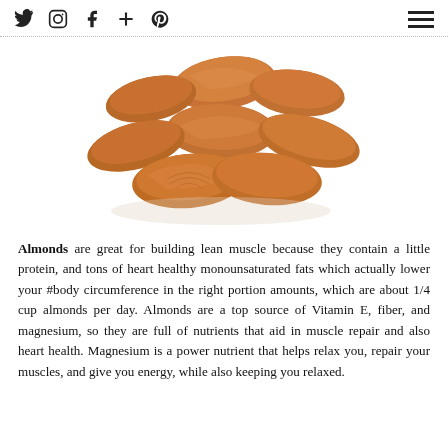Social icons: twitter, instagram, facebook, plus, pinterest; hamburger menu
[Figure (photo): A pile of raw almonds on a white background]
Almonds are great for building lean muscle because they contain a little protein, and tons of heart healthy monounsaturated fats which actually lower your #body circumference in the right portion amounts, which are about 1/4 cup almonds per day. Almonds are a top source of Vitamin E, fiber, and magnesium, so they are full of nutrients that aid in muscle repair and also heart health. Magnesium is a power nutrient that helps relax you, repair your muscles, and give you energy, while also keeping you relaxed.